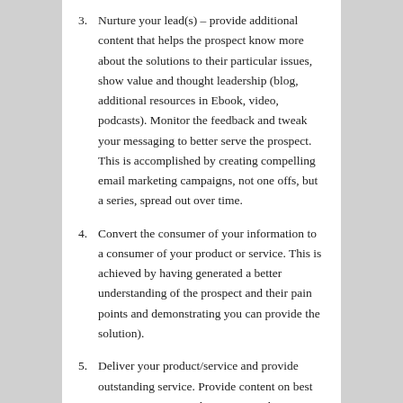3. Nurture your lead(s) – provide additional content that helps the prospect know more about the solutions to their particular issues, show value and thought leadership (blog, additional resources in Ebook, video, podcasts). Monitor the feedback and tweak your messaging to better serve the prospect. This is accomplished by creating compelling email marketing campaigns, not one offs, but a series, spread out over time.
4. Convert the consumer of your information to a consumer of your product or service. This is achieved by having generated a better understanding of the prospect and their pain points and demonstrating you can provide the solution).
5. Deliver your product/service and provide outstanding service. Provide content on best practices. For example, you own a beauty salon, and to provide added service you've created a series of How to videos on your website so that your customer can maintain their look in between visits.